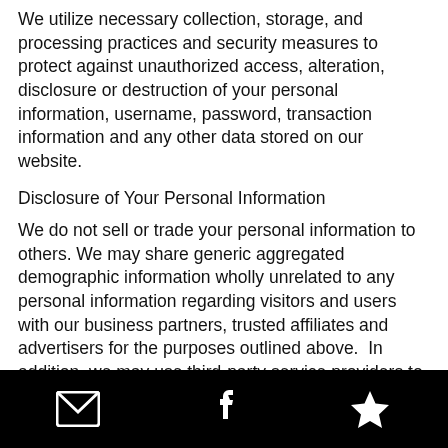We utilize necessary collection, storage, and processing practices and security measures to protect against unauthorized access, alteration, disclosure or destruction of your personal information, username, password, transaction information and any other data stored on our website.
Disclosure of Your Personal Information
We do not sell or trade your personal information to others. We may share generic aggregated demographic information wholly unrelated to any personal information regarding visitors and users with our business partners, trusted affiliates and advertisers for the purposes outlined above.  In addition, we may use third-party service providers to help us operate our business and the website or administer the website on our behalf.  We may also share your information with these third parties for those limited purposes where you
[email icon] [facebook icon] [star icon]